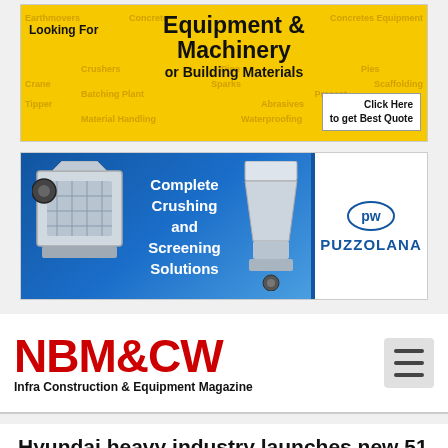[Figure (infographic): Yellow banner advertisement: 'Looking For Equipment & Machinery or Building Materials - Click Here to get Best Quote' with various equipment category words in background]
[Figure (infographic): Puzzolana banner ad showing crushing equipment images on blue background with text 'Complete Crushing and Screening Solutions' and Puzzolana logo on white right panel]
[Figure (logo): NBM&CW - Infra Construction & Equipment Magazine logo in red bold text with hamburger menu icon]
Hyundai heavy industry launches new 51 ton class excavator
In a bid to further strengthen its product portfolio, Hyundai Construction Equipment India limited, showed its new Robex series; 510 LC-7, 51 ton tracked excavators at Excon 2013.